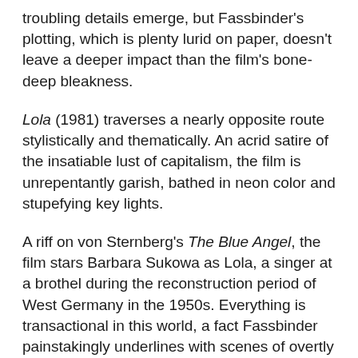troubling details emerge, but Fassbinder's plotting, which is plenty lurid on paper, doesn't leave a deeper impact than the film's bone-deep bleakness.
Lola (1981) traverses a nearly opposite route stylistically and thematically. An acrid satire of the insatiable lust of capitalism, the film is unrepentantly garish, bathed in neon color and stupefying key lights.
A riff on von Sternberg's The Blue Angel, the film stars Barbara Sukowa as Lola, a singer at a brothel during the reconstruction period of West Germany in the 1950s. Everything is transactional in this world, a fact Fassbinder painstakingly underlines with scenes of overtly corrupt business dealings.
Lola attracts the attentions of sleazy developer Schukert (Mario Adorf) and principled building commissioner von Bohm (Armin Mueller-Stahl), a three-way configuration full of using and being used. There's something bracing about the film's